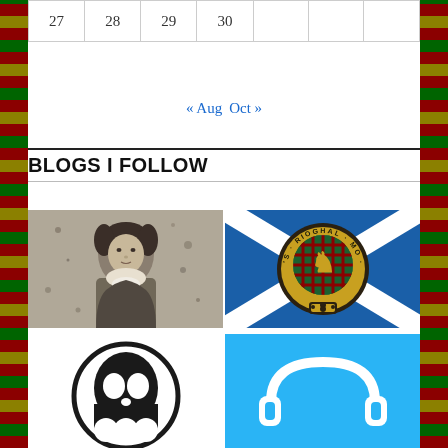| 27 | 28 | 29 | 30 |  |  |  |
« Aug   Oct »
BLOGS I FOLLOW
[Figure (photo): Black and white portrait photograph of a Victorian-era woman with dark hair, wearing a high-collared dress with ruffled bib front]
[Figure (illustration): Scottish clan crest badge showing a rampant lion on tartan background with the motto 'S RIOGHAL MO DHREAM' in a circular frame, on a blue Scottish saltire flag background]
[Figure (logo): Black and white circular skull/ghost logo on white background]
[Figure (logo): White circular headphone/music icon on bright blue background]